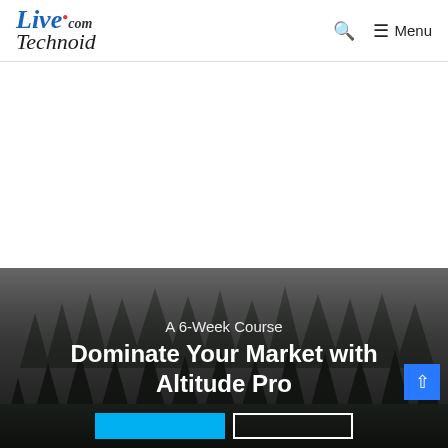LiveTechnoid.com — Menu navigation bar
[Figure (screenshot): White ad placeholder area below navigation header]
[Figure (photo): Misty dark forest with tall evergreen trees silhouetted against grey foggy sky, serving as hero image background]
A 6-Week Course Dominate Your Market with Altitude Pro